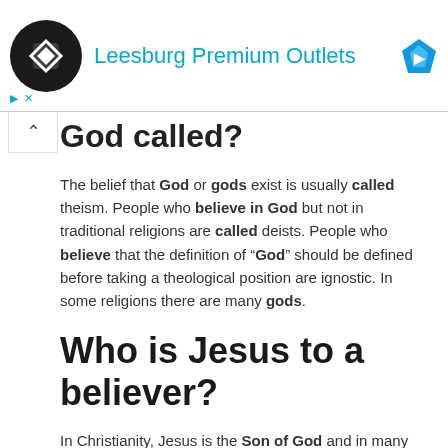[Figure (screenshot): Advertisement banner for Leesburg Premium Outlets with logo, title in blue, and a blue diamond icon. Has play and close controls at bottom left.]
God called?
The belief that God or gods exist is usually called theism. People who believe in God but not in traditional religions are called deists. People who believe that the definition of “God” should be defined before taking a theological position are ignostic. In some religions there are many gods.
Who is Jesus to a believer?
In Christianity, Jesus is the Son of God and in many mainstream Christian denominations he is God the